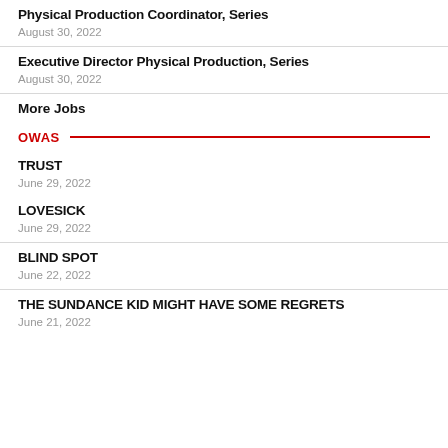Physical Production Coordinator, Series
August 30, 2022
Executive Director Physical Production, Series
August 30, 2022
More Jobs
OWAS
TRUST
June 29, 2022
LOVESICK
June 29, 2022
BLIND SPOT
June 22, 2022
THE SUNDANCE KID MIGHT HAVE SOME REGRETS
June 21, 2022